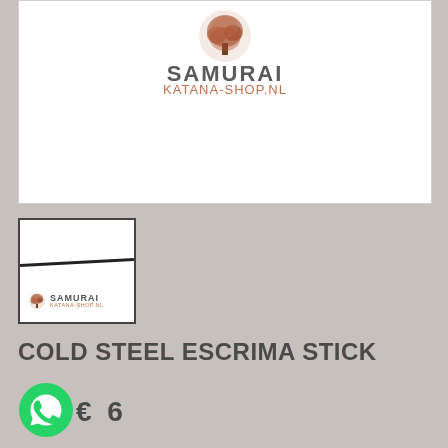[Figure (logo): Samurai Katana-Shop.nl logo with red/brown tree icon and SAMURAI text in gray, KATANA-SHOP.NL in orange/brown]
[Figure (photo): Thumbnail image of a Cold Steel Escrima Stick with Samurai Katana-Shop.nl logo watermark, stick shown diagonally]
COLD STEEL ESCRIMA STICK
[Figure (logo): WhatsApp green icon]
€..6